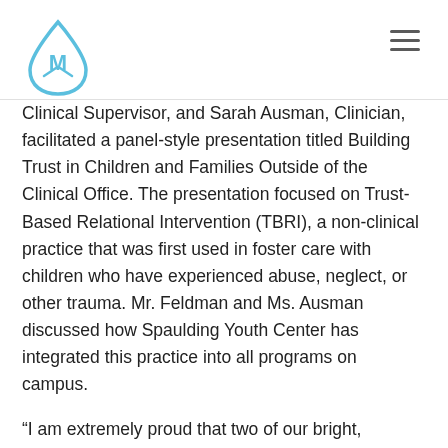Spaulding Youth Center logo and navigation menu
Clinical Supervisor, and Sarah Ausman, Clinician, facilitated a panel-style presentation titled Building Trust in Children and Families Outside of the Clinical Office. The presentation focused on Trust-Based Relational Intervention (TBRI), a non-clinical practice that was first used in foster care with children who have experienced abuse, neglect, or other trauma. Mr. Feldman and Ms. Ausman discussed how Spaulding Youth Center has integrated this practice into all programs on campus.
“I am extremely proud that two of our bright, talented staff were selected to present on this important method at this well-respected industry event promoting positive child and family well-being across the state of New Hampshire,” said Robin Raycraft, Director of Clinical and Compliance of Spaulding Youth Center. “Mr. Feldman and